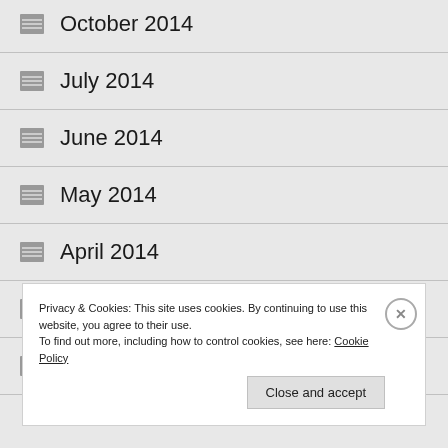October 2014
July 2014
June 2014
May 2014
April 2014
March 2014
February 2014
Privacy & Cookies: This site uses cookies. By continuing to use this website, you agree to their use.
To find out more, including how to control cookies, see here: Cookie Policy
Close and accept